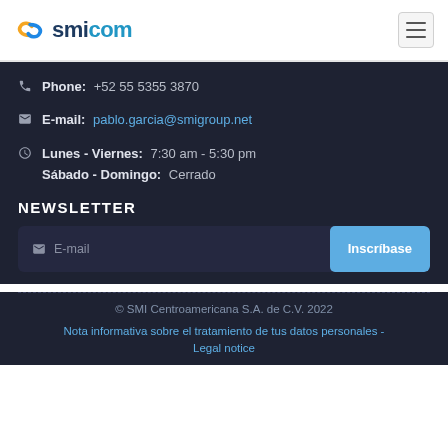smicam [logo + hamburger menu]
Phone: +52 55 5355 3870
E-mail: pablo.garcia@smigroup.net
Lunes - Viernes: 7:30 am - 5:30 pm
Sábado - Domingo: Cerrado
NEWSLETTER
E-mail  [Inscríbase]
© SMI Centroamericana S.A. de C.V. 2022
Nota informativa sobre el tratamiento de tus datos personales - Legal notice